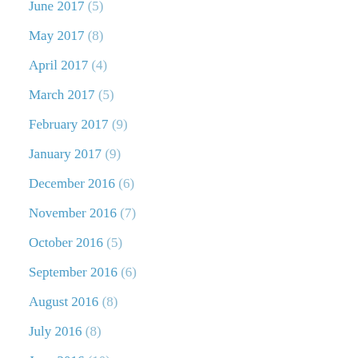June 2017 (5)
May 2017 (8)
April 2017 (4)
March 2017 (5)
February 2017 (9)
January 2017 (9)
December 2016 (6)
November 2016 (7)
October 2016 (5)
September 2016 (6)
August 2016 (8)
July 2016 (8)
June 2016 (10)
May 2016 (6)
April 2016 (4)
March 2016 (5)
February 2016 (6)
January 2016 (8)
December 2015 (3)